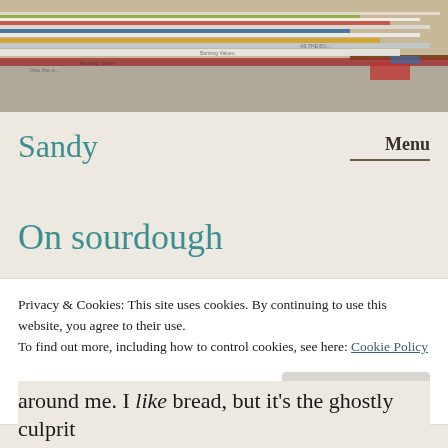[Figure (photo): A stack of newspapers and magazines viewed from above at an angle, various colorful publications piled on a wooden surface.]
Sandy
Menu
On sourdough
Privacy & Cookies: This site uses cookies. By continuing to use this website, you agree to their use.
To find out more, including how to control cookies, see here: Cookie Policy
Close and accept
around me. I like bread, but it's the ghostly culprit